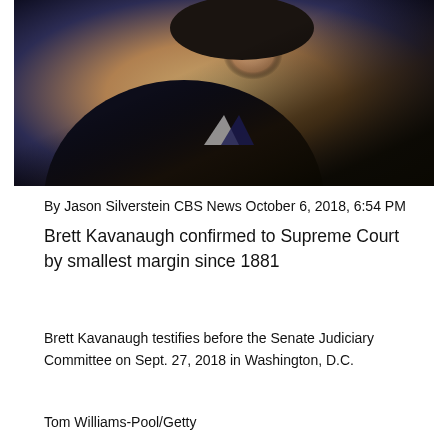[Figure (photo): Brett Kavanaugh testifying, photographed from a low angle in dark suit against a warm-toned background, mouth slightly open as if speaking]
By Jason Silverstein CBS News October 6, 2018, 6:54 PM
Brett Kavanaugh confirmed to Supreme Court by smallest margin since 1881
Brett Kavanaugh testifies before the Senate Judiciary Committee on Sept. 27, 2018 in Washington, D.C.
Tom Williams-Pool/Getty